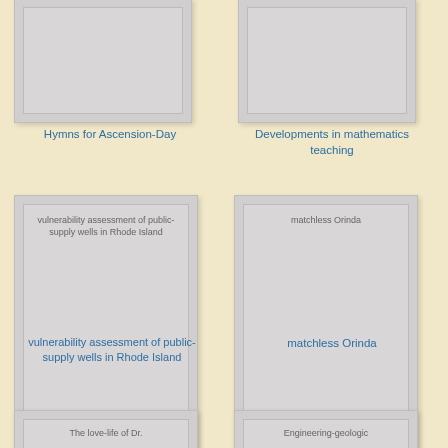[Figure (illustration): Book cover image placeholder - top left, partially visible]
Hymns for Ascension-Day
[Figure (illustration): Book cover image placeholder - top right, partially visible]
Developments in mathematics teaching
[Figure (illustration): Book cover with text: vulnerability assessment of public-supply wells in Rhode Island]
vulnerability assessment of public-supply wells in Rhode Island
[Figure (illustration): Book cover with text: matchless Orinda]
matchless Orinda
[Figure (illustration): Book cover with text: The love-life of Dr. - partially visible at bottom]
[Figure (illustration): Book cover with text: Engineering-geologic - partially visible at bottom]